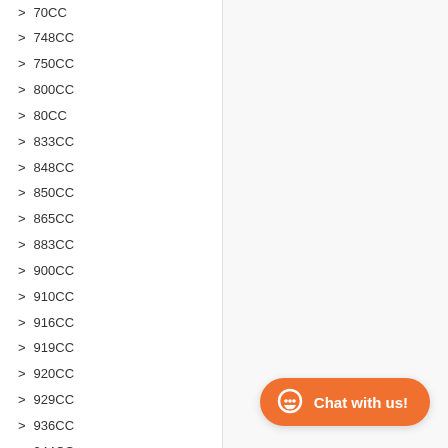> 70CC
> 748CC
> 750CC
> 800CC
> 80CC
> 833CC
> 848CC
> 850CC
> 865CC
> 883CC
> 900CC
> 910CC
> 916CC
> 919CC
> 920CC
> 929CC
> 936CC
> 944CC
> 950CC
> 954CC
> 955CC
> 990CC
> 996CC
> 999CC
> Motorcycle Batteries 90CC